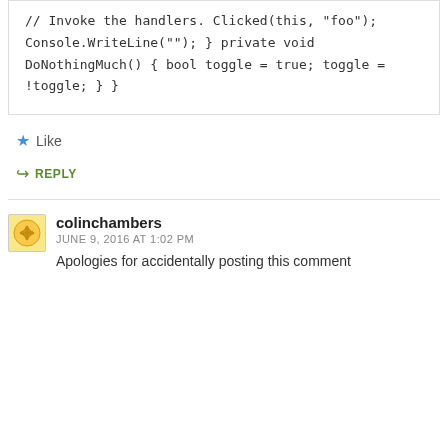// Invoke the handlers.
            Clicked(this, "foo");

            Console.WriteLine("");
        }


        private void DoNothingMuch() { bool toggle = true; toggle = !toggle; }
    }
Like
REPLY
colinchambers
JUNE 9, 2016 AT 1:02 PM
Apologies for accidentally posting this comment